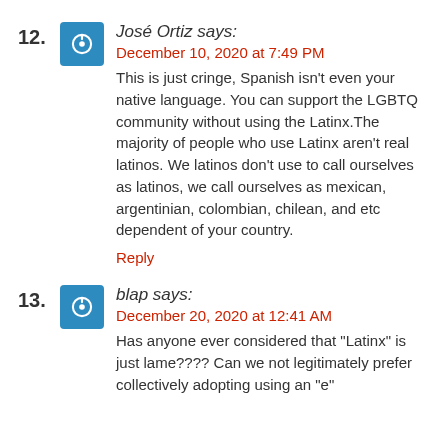12. José Ortiz says:
December 10, 2020 at 7:49 PM
This is just cringe, Spanish isn't even your native language. You can support the LGBTQ community without using the Latinx.The majority of people who use Latinx aren't real latinos. We latinos don't use to call ourselves as latinos, we call ourselves as mexican, argentinian, colombian, chilean, and etc dependent of your country.
Reply
13. blap says:
December 20, 2020 at 12:41 AM
Has anyone ever considered that "Latinx" is just lame???? Can we not legitimately prefer collectively adopting using an "e" ...